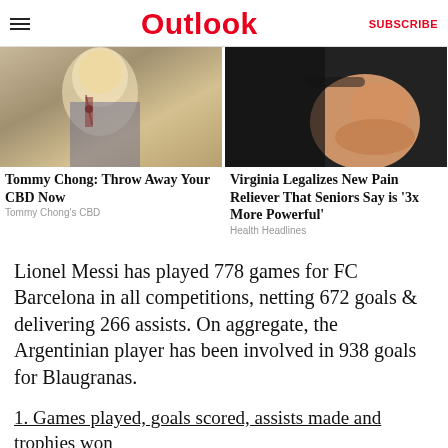Outlook | SUBSCRIBE
[Figure (photo): Two side-by-side advertisement photos: left shows a person (Tommy Chong) with blond hair and a cross necklace; right shows a hand holding something against a dark background.]
Tommy Chong: Throw Away Your CBD Now
Tommy Chong's CBD
Virginia Legalizes New Pain Reliever That Seniors Say is '3x More Powerful'
Health Headlines
Lionel Messi has played 778 games for FC Barcelona in all competitions, netting 672 goals & delivering 266 assists. On aggregate, the Argentinian player has been involved in 938 goals for Blaugranas.
1. Games played, goals scored, assists made and trophies won